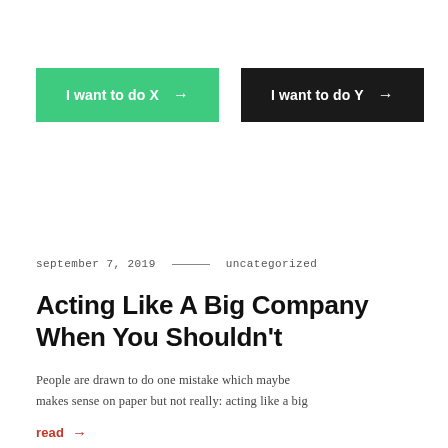[Figure (other): Two call-to-action buttons side by side: a green button labeled 'I want to do X →' and a black button labeled 'I want to do Y →']
september 7, 2019 —— uncategorized
Acting Like A Big Company When You Shouldn't
People are drawn to do one mistake which maybe makes sense on paper but not really: acting like a big
read →